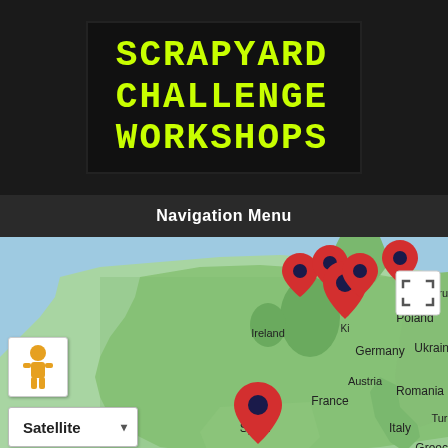SCRAPYARD CHALLENGE WORKSHOPS
Navigation Menu
[Figure (map): Google Maps satellite view showing Western Europe with multiple red location pins clustered over the UK/Germany area and one pin over Spain. Map shows Ireland, Poland, Belarus, Ukraine, Romania, Austria, France, Italy, Greece, Turkey, Portugal, Germany, Spain. Attribution: Map data ©2022 Google, INEGI Imagery ©2022 TerraMetrics]
All Listing Types